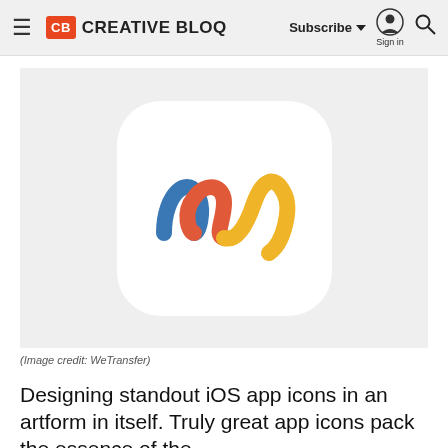CB CREATIVE BLOQ | Subscribe | Sign in
[Figure (logo): WeTransfer iOS app icon — a colorful squiggly wave logo (blue, orange-red, and yellow strokes) on a white rounded-square background, displayed on a light grey page image.]
(Image credit: WeTransfer)
Designing standout iOS app icons in an artform in itself. Truly great app icons pack the essence of the